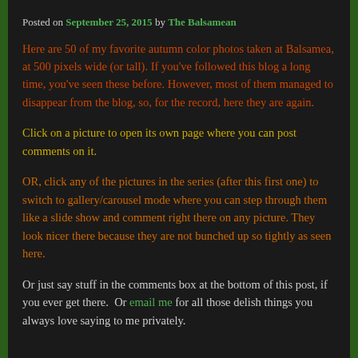Posted on September 25, 2015 by The Balsamean
Here are 50 of my favorite autumn color photos taken at Balsamea, at 500 pixels wide (or tall). If you've followed this blog a long time, you've seen these before. However, most of them managed to disappear from the blog, so, for the record, here they are again.
Click on a picture to open its own page where you can post comments on it.
OR, click any of the pictures in the series (after this first one) to switch to gallery/carousel mode where you can step through them like a slide show and comment right there on any picture. They look nicer there because they are not bunched up so tightly as seen here.
Or just say stuff in the comments box at the bottom of this post, if you ever get there.  Or email me for all those delish things you always love saying to me privately.